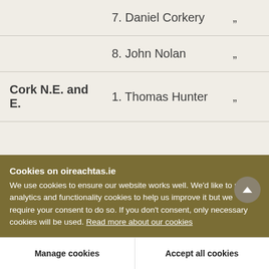| Constituency | Candidate | Mark |
| --- | --- | --- |
|  | 7. Daniel Corkery | „ |
|  | 8. John Nolan | „ |
| Cork N.E. and E. | 1. Thomas Hunter | „ |
Cookies on oireachtas.ie
We use cookies to ensure our website works well. We'd like to use analytics and functionality cookies to help us improve it but we require your consent to do so. If you don't consent, only necessary cookies will be used. Read more about our cookies
Manage cookies
Accept all cookies